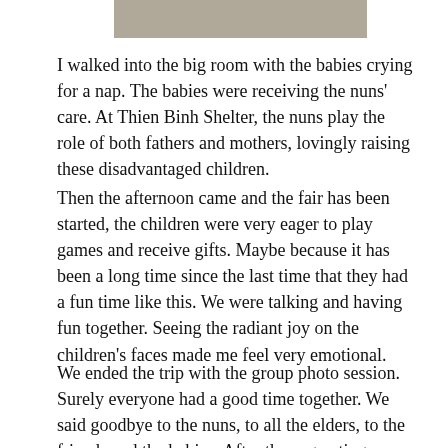[Figure (photo): Partial photo strip visible at the top of the page, showing a cropped image of what appears to be people outdoors.]
I walked into the big room with the babies crying for a nap. The babies were receiving the nuns' care. At Thien Binh Shelter, the nuns play the role of both fathers and mothers, lovingly raising these disadvantaged children.
Then the afternoon came and the fair has been started, the children were very eager to play games and receive gifts. Maybe because it has been a long time since the last time that they had a fun time like this. We were talking and having fun together. Seeing the radiant joy on the children's faces made me feel very emotional.
We ended the trip with the group photo session. Surely everyone had a good time together. We said goodbye to the nuns, to all the elders, to the friends and the babies. After those greetings, wishes were sent. we got on buses and returned to Saigon. I hope that one day I can come back to this place to visit all those disadvantaged but